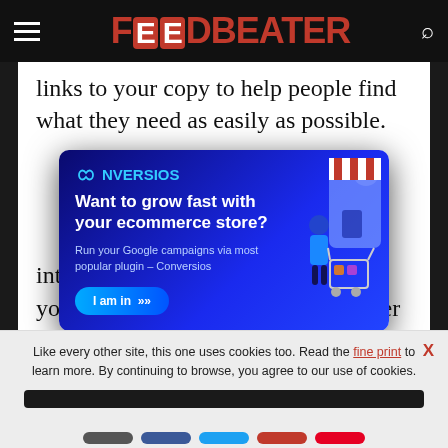FOODBEATER
links to your copy to help people find what they need as easily as possible.
[Figure (infographic): Conversios advertisement banner with blue gradient background. Shows logo 'CONVERSIOS' with infinity symbol, headline 'Want to grow fast with your ecommerce store?', subtext 'Run your Google campaigns via most popular plugin – Conversios', a blue 'I am in' button with arrows, and an illustrated woman with a shopping cart next to a mobile phone displaying a storefront.]
interested in some of the other items you stock. This can help people better
Like every other site, this one uses cookies too. Read the fine print to learn more. By continuing to browse, you agree to our use of cookies.